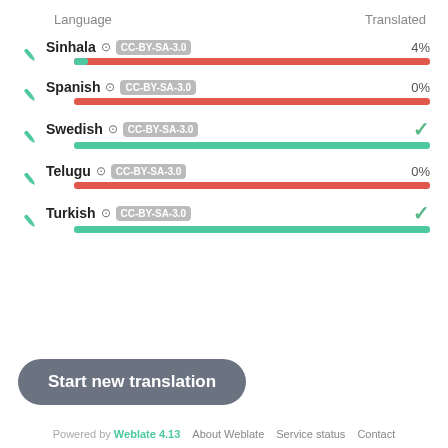| Language | Translated |
| --- | --- |
| Sinhala CC-BY-SA-3.0 | 4% |
| Spanish CC-BY-SA-3.0 | 0% |
| Swedish CC-BY-SA-3.0 | ✓ |
| Telugu CC-BY-SA-3.0 | 0% |
| Turkish CC-BY-SA-3.0 | ✓ |
Start new translation
Powered by Weblate 4.13   About Weblate   Service status   Contact